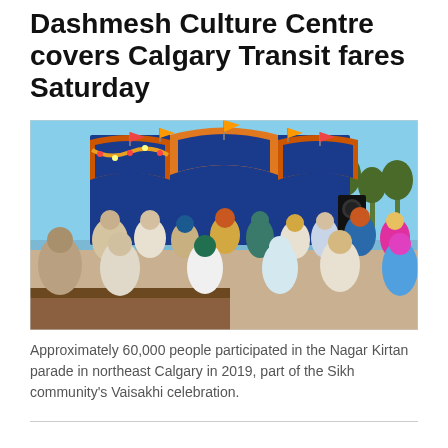Dashmesh Culture Centre covers Calgary Transit fares Saturday
[Figure (photo): Outdoor photo of a colourful Sikh float/stage decorated in blue, orange and gold with Punjabi text, flowers, and flags. A crowd of people in traditional dress and turbans stands in front of it under a clear blue sky.]
Approximately 60,000 people participated in the Nagar Kirtan parade in northeast Calgary in 2019, part of the Sikh community's Vaisakhi celebration.